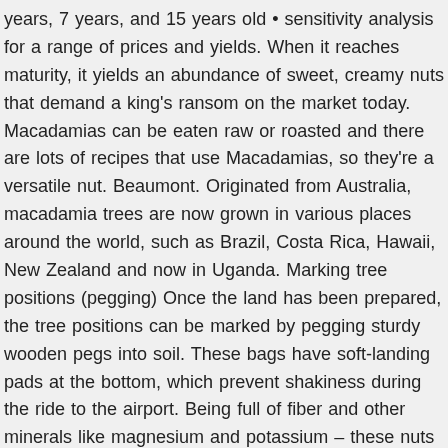years, 7 years, and 15 years old • sensitivity analysis for a range of prices and yields. When it reaches maturity, it yields an abundance of sweet, creamy nuts that demand a king's ransom on the market today. Macadamias can be eaten raw or roasted and there are lots of recipes that use Macadamias, so they're a versatile nut. Beaumont. Originated from Australia, macadamia trees are now grown in various places around the world, such as Brazil, Costa Rica, Hawaii, New Zealand and now in Uganda. Marking tree positions (pegging) Once the land has been prepared, the tree positions can be marked by pegging sturdy wooden pegs into soil. These bags have soft-landing pads at the bottom, which prevent shakiness during the ride to the airport. Being full of fiber and other minerals like magnesium and potassium – these nuts improve heart health. Mistakes made with orchard layout, land prepara-tion, variety selection and tree spacing are difficult or impossible, and costly, to rectify later on. Most of the current nurseries offering seeds in the country are situated in the rainforest area of Western Uganda. They like half a metre to a metre